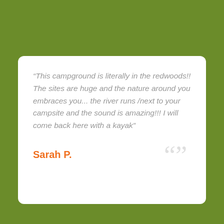“This campground is literally in the redwoods!! The sites are huge and the nature around you embraces you... the river runs /next to your campsite and the sound is amazing!!! I will come back here with a kayak”
Sarah P.